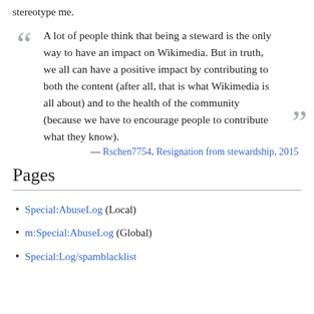stereotype me.
A lot of people think that being a steward is the only way to have an impact on Wikimedia. But in truth, we all can have a positive impact by contributing to both the content (after all, that is what Wikimedia is all about) and to the health of the community (because we have to encourage people to contribute what they know). — Rschen7754, Resignation from stewardship, 2015
Pages
Special:AbuseLog (Local)
m:Special:AbuseLog (Global)
Special:Log/spamblacklist